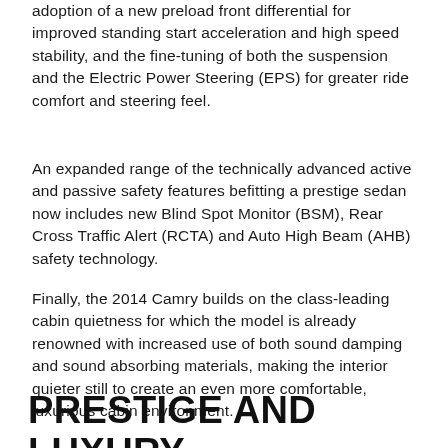adoption of a new preload front differential for improved standing start acceleration and high speed stability, and the fine-tuning of both the suspension and the Electric Power Steering (EPS) for greater ride comfort and steering feel.
An expanded range of the technically advanced active and passive safety features befitting a prestige sedan now includes new Blind Spot Monitor (BSM), Rear Cross Traffic Alert (RCTA) and Auto High Beam (AHB) safety technology.
Finally, the 2014 Camry builds on the class-leading cabin quietness for which the model is already renowned with increased use of both sound damping and sound absorbing materials, making the interior quieter still to create an even more comfortable, luxurious cabin environment.
PRESTIGE AND LUXURY